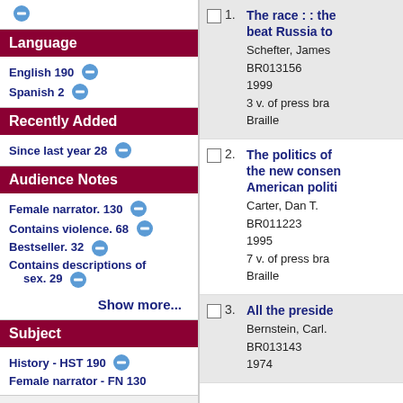Language
English 190
Spanish 2
Recently Added
Since last year 28
Audience Notes
Female narrator. 130
Contains violence. 68
Bestseller. 32 Contains descriptions of sex. 29
Show more...
Subject
History - HST 190
Female narrator - FN 130
1. The race : : the beat Russia to
Schefter, James
BR013156
1999
3 v. of press bra
Braille
2. The politics of the new conser American politi
Carter, Dan T.
BR011223
1995
7 v. of press bra
Braille
3. All the preside
Bernstein, Carl.
BR013143
1974